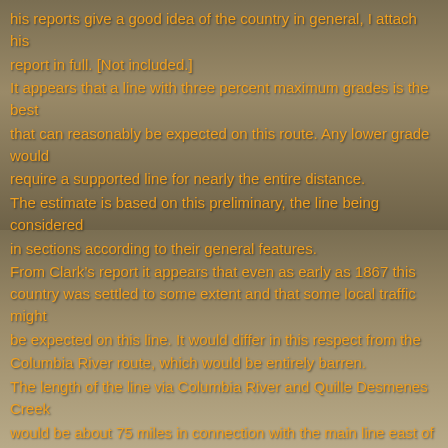[Figure (photo): Black and white photograph of grain silos and industrial storage structures, visible as background image, split into upper and lower halves]
his reports give a good idea of the country in general, I attach his report in full. [Not included.] It appears that a line with three percent maximum grades is the best that can reasonably be expected on this route. Any lower grade would require a supported line for nearly the entire distance. The estimate is based on this preliminary, the line being considered in sections according to their general features. From Clark's report it appears that even as early as 1867 this country was settled to some extent and that some local traffic might be expected on this line. It would differ in this respect from the Columbia River route, which would be entirely barren. The length of the line via Columbia River and Quille Desmenes Creek would be about 75 miles in connection with the main line east of Ellensburg, and its cost about $17,000 per mile or